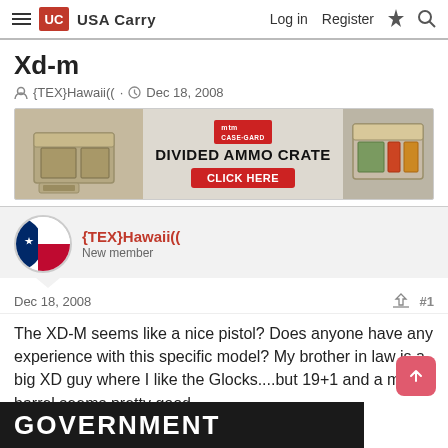USA Carry — Log in  Register
Xd-m
{TEX}Hawaii((  ·  Dec 18, 2008
[Figure (other): MTM Case-Gard Divided Ammo Crate advertisement banner with CLICK HERE button]
{TEX}Hawaii(( — New member
Dec 18, 2008   #1
The XD-M seems like a nice pistol? Does anyone have any experience with this specific model? My brother in law is a big XD guy where I like the Glocks....but 19+1 and a match barrel seems pretty good.
[Figure (photo): Partial bottom banner showing GOVERNMENT text on dark background]